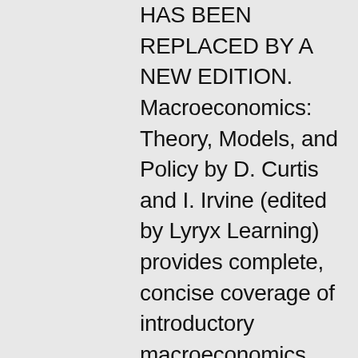HAS BEEN REPLACED BY A NEW EDITION. Macroeconomics: Theory, Models, and Policy by D. Curtis and I. Irvine (edited by Lyryx Learning) provides complete, concise coverage of introductory macroeconomics theory and policy. The text observes short-run macroeconomic performance, analysis, and policy motivated by the recessions of the early 1980s and 1990s, the financial crisis and recession of 2008-2009, and the prolonged recovery in most industrial countries. A traditional Aggregate Demand and Supply (AD-AS) model is introduced, and a basic modern AD-AS model is developed. Numerical examples, diagrams, and basic algebra are used in combination to illustrate and explain economic relationships. Students